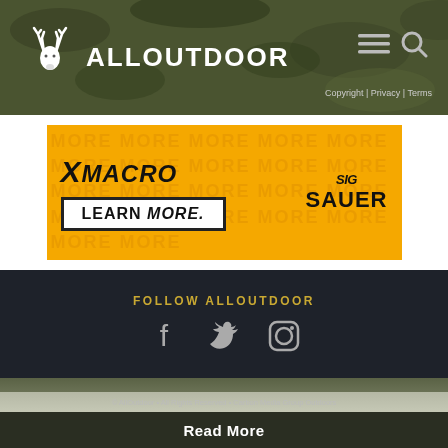ALLOUTDOOR
Copyright | Privacy | Terms
[Figure (photo): XMacro SIG Sauer advertisement banner with yellow/orange background, 'LEARN MORE.' button and SIG SAUER logo]
FOLLOW ALLOUTDOOR
[Figure (illustration): Social media icons: Facebook, Twitter, Instagram]
CARBONMEDIA
OUTDOORHUB // THEFIREARMBLOG // ALLOUTDOOR // ACTIONHUB // AGDAILY
© AllOutdoor • All Rights Reserved • Carbon Media Group Outdoors
Read More